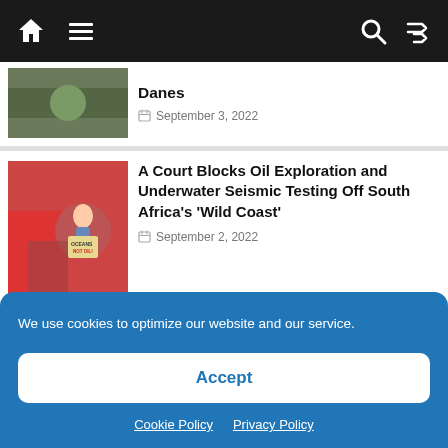Navigation bar with home, menu, search, and shuffle icons
Danes
September 3, 2022
A Court Blocks Oil Exploration and Underwater Seismic Testing Off South Africa's 'Wild Coast'
September 2, 2022
California Just Banned Gas-Powered Cars. Here's Everything You Need to Know
We use cookies to optimize our website and our service.
Accept
Cookie Policy   Privacy Policy